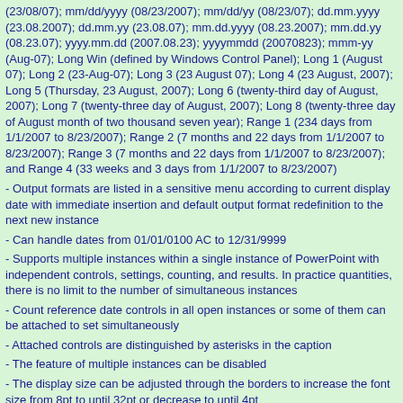(23/08/07); mm/dd/yyyy (08/23/2007); mm/dd/yy (08/23/07); dd.mm.yyyy (23.08.2007); dd.mm.yy (23.08.07); mm.dd.yyyy (08.23.2007); mm.dd.yy (08.23.07); yyyy.mm.dd (2007.08.23); yyyymmdd (20070823); mmm-yy (Aug-07); Long Win (defined by Windows Control Panel); Long 1 (August 07); Long 2 (23-Aug-07); Long 3 (23 August 07); Long 4 (23 August, 2007); Long 5 (Thursday, 23 August, 2007); Long 6 (twenty-third day of August, 2007); Long 7 (twenty-three day of August, 2007); Long 8 (twenty-three day of August month of two thousand seven year); Range 1 (234 days from 1/1/2007 to 8/23/2007); Range 2 (7 months and 22 days from 1/1/2007 to 8/23/2007); Range 3 (7 months and 22 days from 1/1/2007 to 8/23/2007); and Range 4 (33 weeks and 3 days from 1/1/2007 to 8/23/2007)
- Output formats are listed in a sensitive menu according to current display date with immediate insertion and default output format redefinition to the next new instance
- Can handle dates from 01/01/0100 AC to 12/31/9999
- Supports multiple instances within a single instance of PowerPoint with independent controls, settings, counting, and results. In practice quantities, there is no limit to the number of simultaneous instances
- Count reference date controls in all open instances or some of them can be attached to set simultaneously
- Attached controls are distinguished by asterisks in the caption
- The feature of multiple instances can be disabled
- The display size can be adjusted through the borders to increase the font size from 8pt to until 32pt or decrease to until 4pt
- Can copy the date on display to Windows Clipboard. Tip! When inserting with Shift key pressed, the output is sent to Windows Clipboard instead